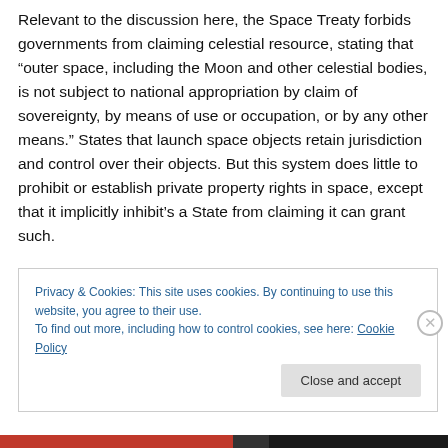Relevant to the discussion here, the Space Treaty forbids governments from claiming celestial resource, stating that “outer space, including the Moon and other celestial bodies, is not subject to national appropriation by claim of sovereignty, by means of use or occupation, or by any other means.” States that launch space objects retain jurisdiction and control over their objects. But this system does little to prohibit or establish private property rights in space, except that it implicitly inhibit’s a State from claiming it can grant such.
Privacy & Cookies: This site uses cookies. By continuing to use this website, you agree to their use.
To find out more, including how to control cookies, see here: Cookie Policy